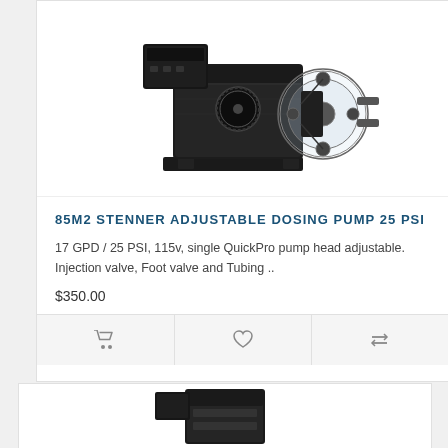[Figure (photo): Photo of 85M2 Stenner adjustable dosing pump, a peristaltic pump with black body and transparent pump head, mounted on a bracket]
85M2 STENNER ADJUSTABLE DOSING PUMP 25 PSI
17 GPD / 25 PSI, 115v, single QuickPro pump head adjustable. Injection valve, Foot valve and Tubing ..
$350.00
[Figure (photo): Partial photo of a second dosing pump product, showing the top portion of a black pump body]